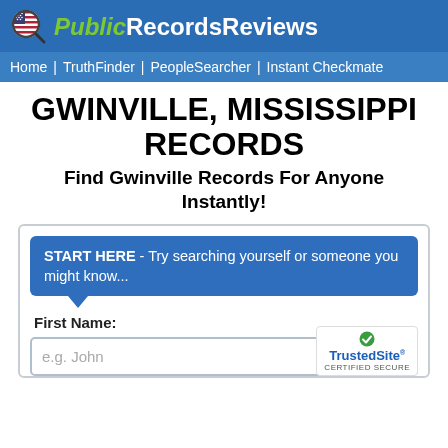[Figure (logo): PublicRecordsReviews logo with US flag magnifying glass icon, green italic 'Public' and white 'RecordsReviews' text on blue background]
Home | TruthFinder | PeopleSearcher | Instant Checkmate
GWINVILLE, MISSISSIPPI RECORDS
Find Gwinville Records For Anyone Instantly!
START HERE - Try searching yourself or someone you might know...
First Name:
e.g. John
[Figure (logo): TrustedSite CERTIFIED SECURE badge]